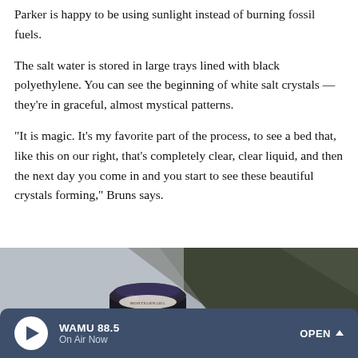Parker is happy to be using sunlight instead of burning fossil fuels.
The salt water is stored in large trays lined with black polyethylene. You can see the beginning of white salt crystals — they're in graceful, almost mystical patterns.
"It is magic. It's my favorite part of the process, to see a bed that, like this on our right, that's completely clear, clear liquid, and then the next day you come in and you start to see these beautiful crystals forming," Bruns says.
[Figure (photo): Close-up photo of a dark jar with a label, resting on a wooden surface, with blurred background.]
WAMU 88.5 — On Air Now — OPEN